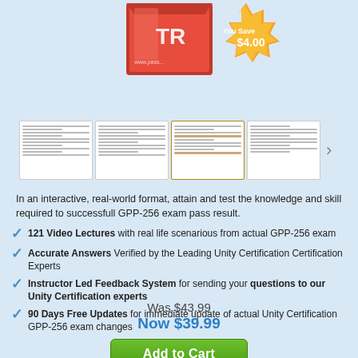[Figure (illustration): Red product box with 'TR' text and website URL, with a gold savings badge showing 'You Save $4.00']
[Figure (screenshot): Four thumbnail previews of document pages with a right arrow navigation button]
In an interactive, real-world format, attain and test the knowledge and skill required to successfull GPP-256 exam pass result.
121 Video Lectures with real life scenarious from actual GPP-256 exam
Accurate Answers Verified by the Leading Unity Certification Certification Experts
Instructor Led Feedback System for sending your questions to our Unity Certification experts
90 Days Free Updates for immediate update of actual Unity Certification GPP-256 exam changes
Was $43.99
Now $39.99
Add to Cart